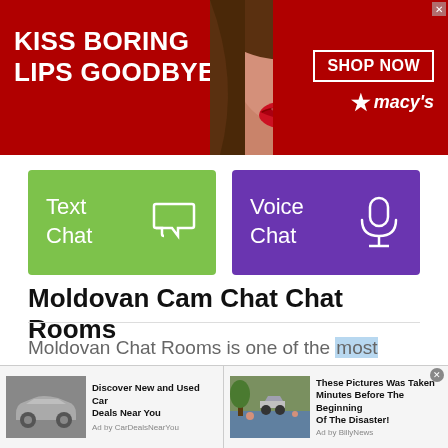[Figure (infographic): Red advertisement banner for Macy's: white bold text 'KISS BORING LIPS GOODBYE' on left, model photo in center, 'SHOP NOW' button and Macy's star logo on right]
[Figure (infographic): Two large colored buttons: green 'Text Chat' button with speech bubble icon and purple 'Voice Chat' button with microphone icon]
Moldovan Cam Chat Chat Rooms
Moldovan Chat Rooms is one of the most popular chat sites in Moldova (Republic of).
[Figure (infographic): Bottom ad bar with two sponsored content items: 'Discover New and Used Car Deals Near You' by CarDealsNearYou, and 'These Pictures Was Taken Minutes Before The Beginning Of The Disaster!' by BillyNews]